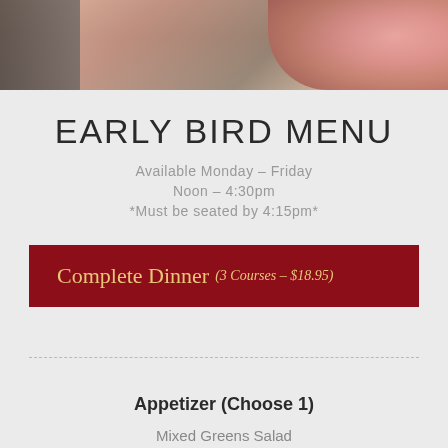[Figure (photo): Top photo strip showing restaurant interior with dark curtains on the left and pink roses/flowers on the right]
EARLY BIRD MENU
Available Monday – Friday
Noon – 4:30pm
*Must be seated by 4:15pm*
Complete Dinner (3 Courses – $18.95)
Appetizer (Choose 1)
Mixed Greens Salad